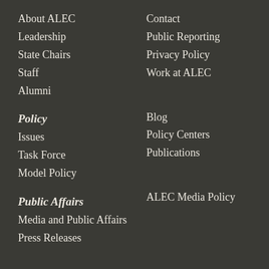About ALEC
Leadership
State Chairs
Staff
Alumni
Contact
Public Reporting
Privacy Policy
Work at ALEC
Policy
Issues
Task Force
Model Policy
Blog
Policy Centers
Publications
Public Affairs
Media and Public Affairs
Press Releases
ALEC Media Policy